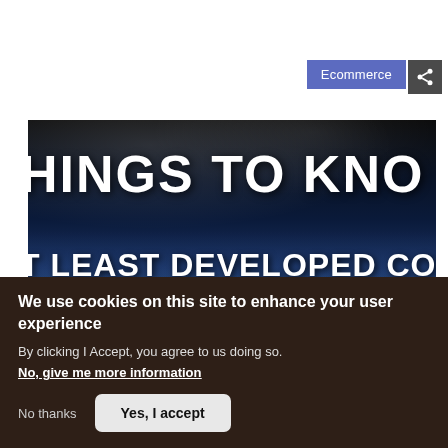Ecommerce
[Figure (screenshot): Hero banner image with dark space/earth background showing partial text: 'HINGS TO KNO' on top line, 'T LEAST DEVELOPED COUNTRIES' on second line, 'MERCE' on third line, suggesting full title about Things to Know about Least Developed Countries Ecommerce]
We use cookies on this site to enhance your user experience
By clicking I Accept, you agree to us doing so.
No, give me more information
No thanks
Yes, I accept